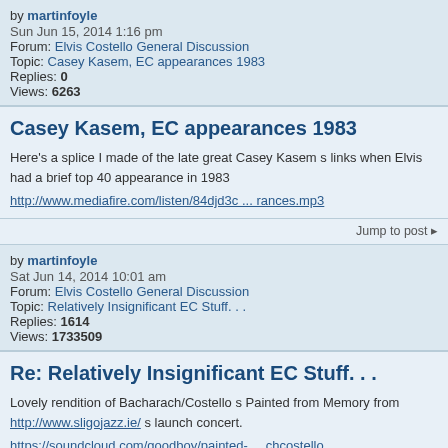by martinfoyle
Sun Jun 15, 2014 1:16 pm
Forum: Elvis Costello General Discussion
Topic: Casey Kasem, EC appearances 1983
Replies: 0
Views: 6263
Casey Kasem, EC appearances 1983
Here's a splice I made of the late great Casey Kasem s links when Elvis had a brief top 40 appearance in 1983
http://www.mediafire.com/listen/84djd3c ... rances.mp3
Jump to post
by martinfoyle
Sat Jun 14, 2014 10:01 am
Forum: Elvis Costello General Discussion
Topic: Relatively Insignificant EC Stuff. . .
Replies: 1614
Views: 1733509
Re: Relatively Insignificant EC Stuff. . .
Lovely rendition of Bacharach/Costello s Painted from Memory from http://www.sligojazz.ie/ s launch concert.
https://soundcloud.com/goodboy/painted- ... chcostello
Jump to post
by martinfoyle
Wed May 21, 2014 10:03 am
Forum: Elvis Costello General Discussion